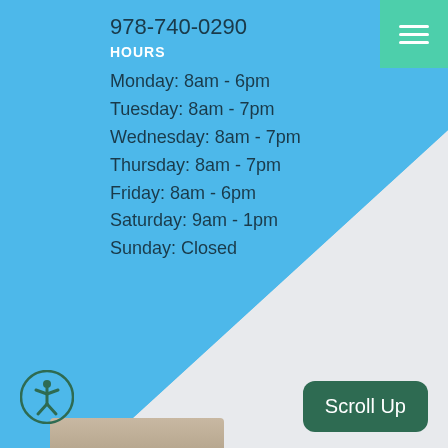978-740-0290
HOURS
Monday: 8am - 6pm
Tuesday: 8am - 7pm
Wednesday: 8am - 7pm
Thursday: 8am - 7pm
Friday: 8am - 6pm
Saturday: 9am - 1pm
Sunday: Closed
[Figure (screenshot): Scroll Up button and accessibility icon on website footer]
Scroll Up